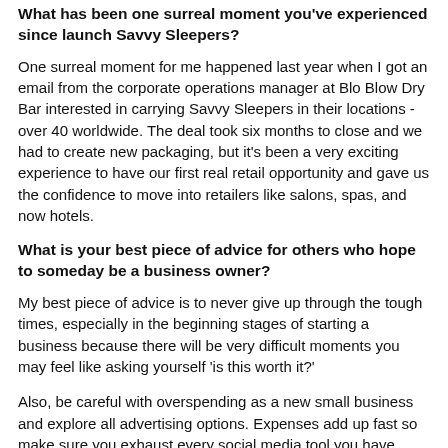What has been one surreal moment you've experienced since launch Savvy Sleepers?
One surreal moment for me happened last year when I got an email from the corporate operations manager at Blo Blow Dry Bar interested in carrying Savvy Sleepers in their locations - over 40 worldwide. The deal took six months to close and we had to create new packaging, but it's been a very exciting experience to have our first real retail opportunity and gave us the confidence to move into retailers like salons, spas, and now hotels.
What is your best piece of advice for others who hope to someday be a business owner?
My best piece of advice is to never give up through the tough times, especially in the beginning stages of starting a business because there will be very difficult moments you may feel like asking yourself 'is this worth it?'
Also, be careful with overspending as a new small business and explore all advertising options. Expenses add up fast so make sure you exhaust every social media tool you have.